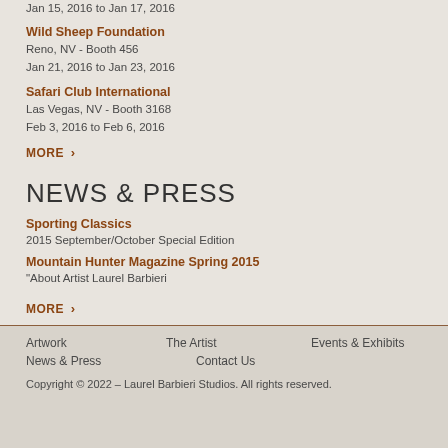Jan 15, 2016 to Jan 17, 2016
Wild Sheep Foundation
Reno, NV - Booth 456
Jan 21, 2016 to Jan 23, 2016
Safari Club International
Las Vegas, NV - Booth 3168
Feb 3, 2016 to Feb 6, 2016
MORE ›
NEWS & PRESS
Sporting Classics
2015 September/October Special Edition
Mountain Hunter Magazine Spring 2015
"About Artist Laurel Barbieri
MORE ›
Artwork   The Artist   Events & Exhibits
News & Press   Contact Us
Copyright © 2022 – Laurel Barbieri Studios. All rights reserved.